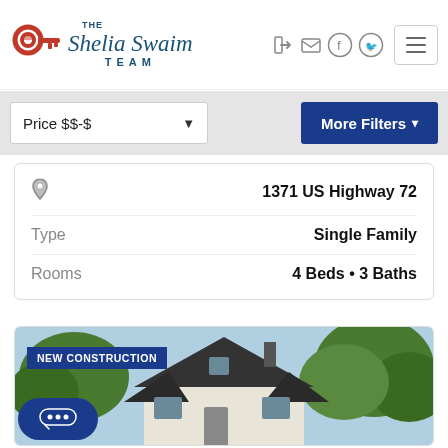[Figure (logo): The Shelia Swaim Team logo with a red key graphic and blue text]
Price $$-$
More Filters
1371 US Highway 72
Type
Single Family
Rooms
4 Beds • 3 Baths
[Figure (photo): New construction house photo with dark roof and white/gray exterior, surrounded by trees. Badge reads NEW CONSTRUCTION.]